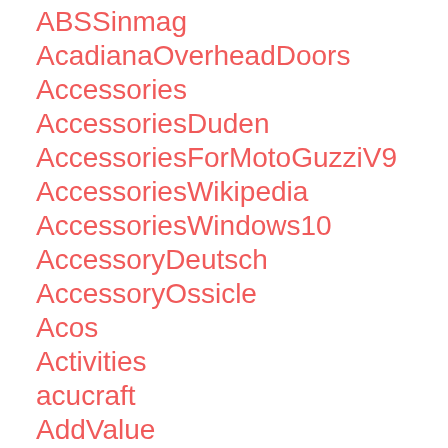ABSSinmag
AcadianaOverheadDoors
Accessories
AccessoriesDuden
AccessoriesForMotoGuzziV9
AccessoriesWikipedia
AccessoriesWindows10
AccessoryDeutsch
AccessoryOssicle
Acos
Activities
acucraft
AddValue
Adenandanais
AdnexalMassicBladderPelvicBH